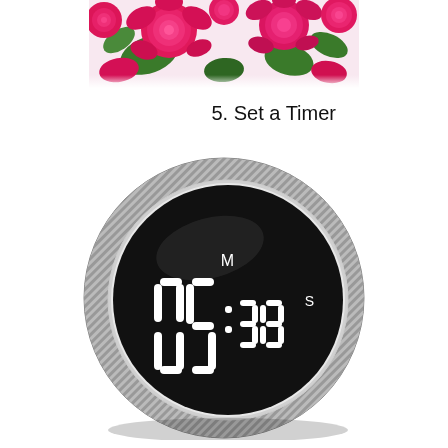[Figure (photo): Pink/magenta roses and flowers arrangement at the top of the page]
5. Set a Timer
[Figure (photo): A round digital timer/clock with black mirror face showing 05 minutes and 38 seconds (M and S labels), with textured knurled silver edge/bezel]